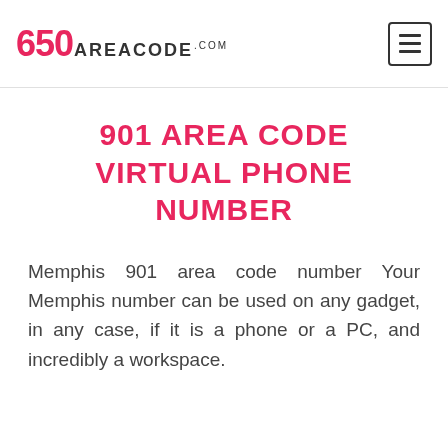650 AREACODE .com
901 AREA CODE VIRTUAL PHONE NUMBER
Memphis 901 area code number Your Memphis number can be used on any gadget, in any case, if it is a phone or a PC, and incredibly a workspace.